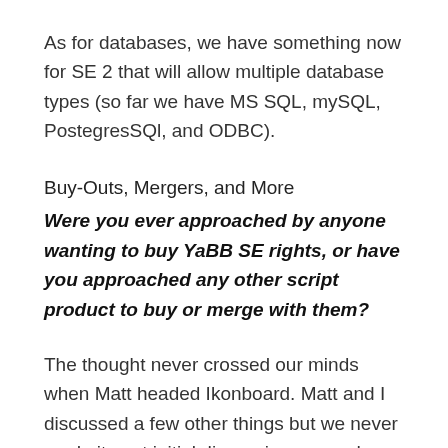As for databases, we have something now for SE 2 that will allow multiple database types (so far we have MS SQL, mySQL, PostegresSQl, and ODBC).
Buy-Outs, Mergers, and More
Were you ever approached by anyone wanting to buy YaBB SE rights, or have you approached any other script product to buy or merge with them?
The thought never crossed our minds when Matt headed Ikonboard. Matt and I discussed a few other things but we never made it past initial discussions — and even then, the talks we had